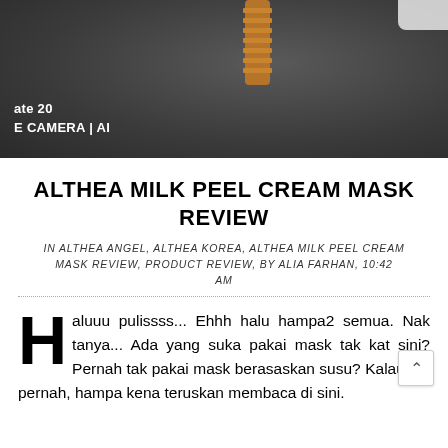[Figure (photo): Dark gray textured background photo (fabric/carpet) with a gold watch strap visible. Camera watermark text 'ate 20 E CAMERA | AI' in bottom-left corner.]
ALTHEA MILK PEEL CREAM MASK REVIEW
IN ALTHEA ANGEL, ALTHEA KOREA, ALTHEA MILK PEEL CREAM MASK REVIEW, PRODUCT REVIEW, BY ALIA FARHAN, 10:42 AM
Haluuu pulissss... Ehhh halu hampa2 semua. Nak tanya... Ada yang suka pakai mask tak kat sini? Pernah tak pakai mask berasaskan susu? Kalau tak pernah, hampa kena teruskan membaca di sini.